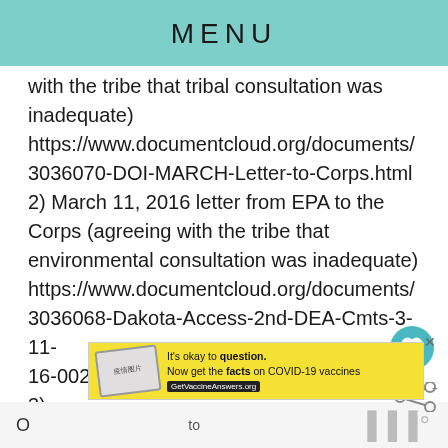MENU
with the tribe that tribal consultation was inadequate)
https://www.documentcloud.org/documents/3036070-DOI-MARCH-Letter-to-Corps.html
2) March 11, 2016 letter from EPA to the Corps (agreeing with the tribe that environmental consultation was inadequate)
https://www.documentcloud.org/documents/3036068-Dakota-Access-2nd-DEA-Cmts-3-11-16-002.html
3)
May 19, 2016 letter from the Advisory Council
O
to	at the